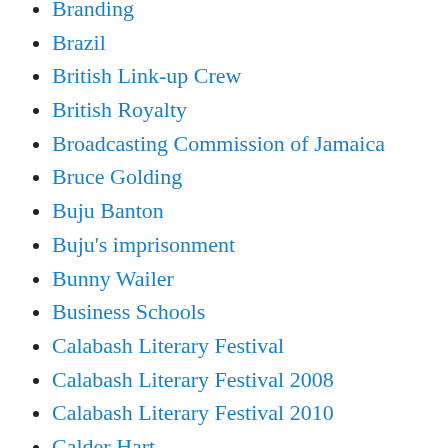Branding
Brazil
British Link-up Crew
British Royalty
Broadcasting Commission of Jamaica
Bruce Golding
Buju Banton
Buju's imprisonment
Bunny Wailer
Business Schools
Calabash Literary Festival
Calabash Literary Festival 2008
Calabash Literary Festival 2010
Calder Hart
campus life
cannabis
Carnb...